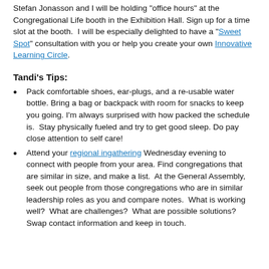Stefan Jonasson and I will be holding "office hours" at the Congregational Life booth in the Exhibition Hall. Sign up for a time slot at the booth. I will be especially delighted to have a "Sweet Spot" consultation with you or help you create your own Innovative Learning Circle.
Tandi's Tips:
Pack comfortable shoes, ear-plugs, and a re-usable water bottle. Bring a bag or backpack with room for snacks to keep you going. I'm always surprised with how packed the schedule is. Stay physically fueled and try to get good sleep. Do pay close attention to self care!
Attend your regional ingathering Wednesday evening to connect with people from your area. Find congregations that are similar in size, and make a list. At the General Assembly, seek out people from those congregations who are in similar leadership roles as you and compare notes. What is working well? What are challenges? What are possible solutions? Swap contact information and keep in touch.